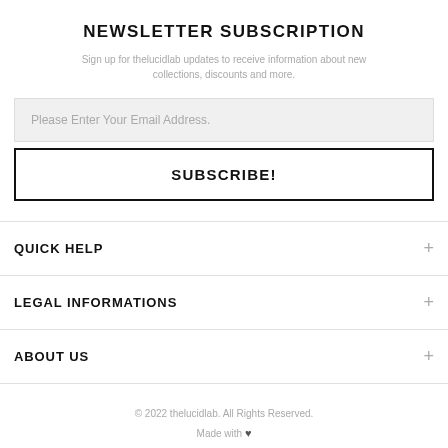NEWSLETTER SUBSCRIPTION
Sign up for thelucidlab updates to receive information about new collections, discounts and more.
Please Enter Your Email Address.
SUBSCRIBE!
QUICK HELP
LEGAL INFORMATIONS
ABOUT US
© 2022 thelucidlab. All Rights Reserved.
Made with ♥